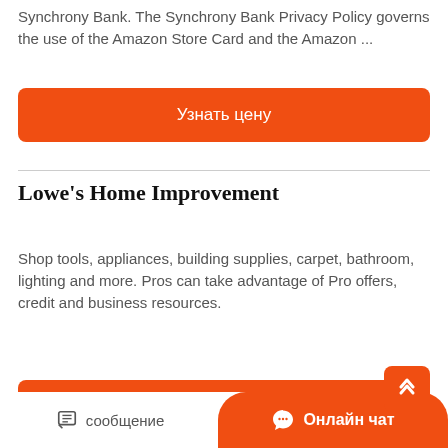Synchrony Bank. The Synchrony Bank Privacy Policy governs the use of the Amazon Store Card and the Amazon ...
[Figure (other): Orange button with Russian text 'Узнать цену' (Find out the price)]
Lowe's Home Improvement
Shop tools, appliances, building supplies, carpet, bathroom, lighting and more. Pros can take advantage of Pro offers, credit and business resources.
[Figure (other): Orange button with Russian text 'Узнать цену' (Find out the price) and a back-to-top arrow button]
[Figure (other): Footer bar with message icon and 'сообщение' text on left, and orange 'Онлайн чат' chat button on right]